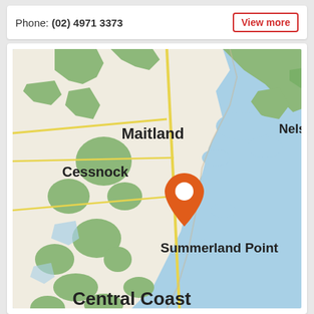Phone: (02) 4971 3373
View more
[Figure (map): Google Maps style map showing the New South Wales central/hunter coast region of Australia. Visible place names include Maitland, Nelson Bay (partial), Cessnock, Summerland Point, and Central Coast. An orange map pin/marker is placed near Summerland Point on the coast. The map shows green areas (national parks/forests), blue water (ocean and lakes), and road networks.]